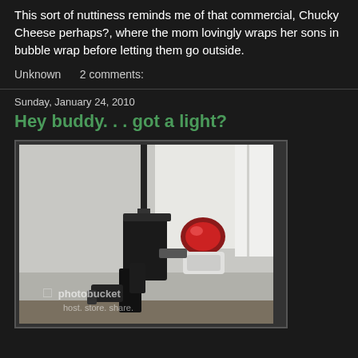This sort of nuttiness reminds me of that commercial, Chucky Cheese perhaps?, where the mom lovingly wraps her sons in bubble wrap before letting them go outside.
Unknown    2 comments:
Sunday, January 24, 2010
Hey buddy. . . got a light?
[Figure (photo): Photo of a rifle or firearm with a red light/laser attachment mounted on it, standing upright. Photobucket watermark visible on the image with text 'host. store. share.']